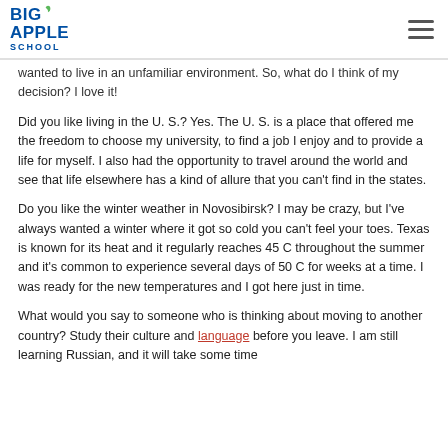Big Apple School
wanted to live in an unfamiliar environment. So, what do I think of my decision? I love it!
Did you like living in the U. S.? Yes. The U. S. is a place that offered me the freedom to choose my university, to find a job I enjoy and to provide a life for myself. I also had the opportunity to travel around the world and see that life elsewhere has a kind of allure that you can't find in the states.
Do you like the winter weather in Novosibirsk? I may be crazy, but I've always wanted a winter where it got so cold you can't feel your toes. Texas is known for its heat and it regularly reaches 45 C throughout the summer and it's common to experience several days of 50 C for weeks at a time. I was ready for the new temperatures and I got here just in time.
What would you say to someone who is thinking about moving to another country? Study their culture and language before you leave. I am still learning Russian, and it will take some time.